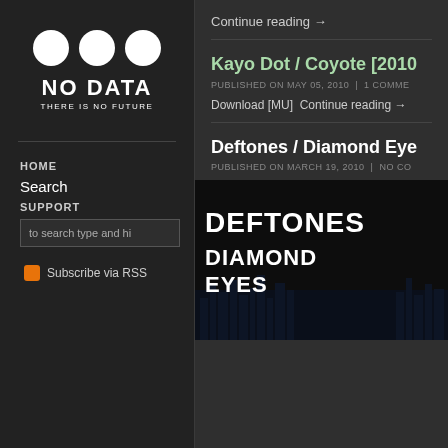[Figure (logo): NO DATA - THERE IS NO FUTURE logo with three white circles]
HOME
Search
SUPPORT
to search type and hi
Subscribe via RSS
Continue reading →
Kayo Dot / Coyote [2010
PUBLISHED ON MAY 05, 2010  |  1 COMME
Download [MU]  Continue reading →
Deftones / Diamond Eye
PUBLISHED ON MARCH 19, 2010  |  NO CO
[Figure (photo): Deftones Diamond Eyes album cover - black and white text on dark background with city skyline]